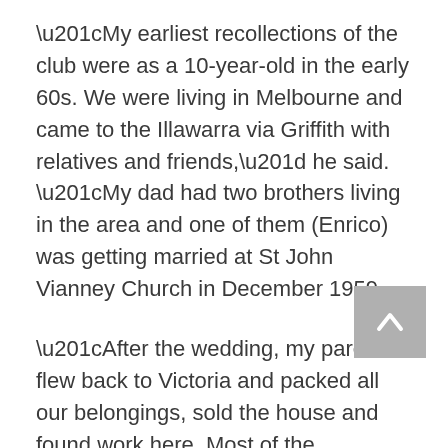“My earliest recollections of the club were as a 10-year-old in the early 60s. We were living in Melbourne and came to the Illawarra via Griffith with relatives and friends,” he said. “My dad had two brothers living in the area and one of them (Enrico) was getting married at St John Vianney Church in December 1959.
“After the wedding, my parents flew back to Victoria and packed all our belongings, sold the house and found work here. Most of the socialising used to be done in the homes of paesani (people from the same country), but the club was where the formal socialising took place.” Gabe said his family had strong ties with the club in the early